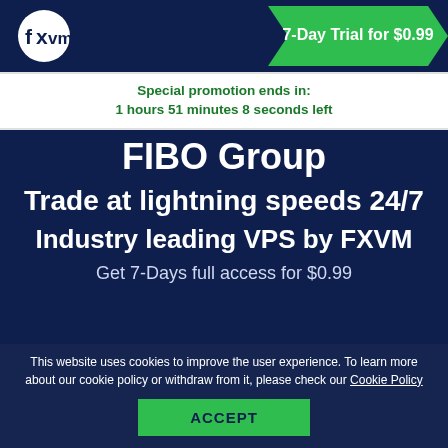fxvm — 7-Day Trial for $0.99
Special promotion ends in:
1 hours 51 minutes 8 seconds left
FIBO Group
Trade at lightning speeds 24/7
Industry leading VPS by FXVM
Get 7-Days full access for $0.99
This website uses cookies to improve the user experience. To learn more about our cookie policy or withdraw from it, please check our Cookie Policy
ACCEPT